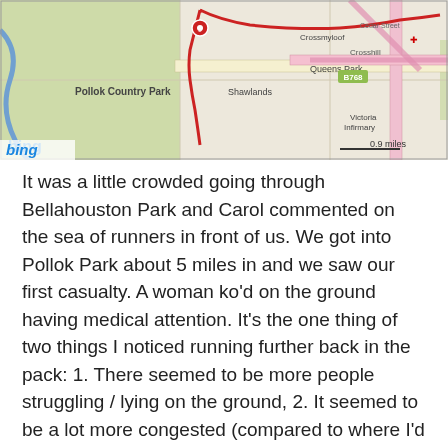[Figure (map): Bing map showing a running route in Glasgow, featuring Pollok Country Park, Queens Park, Shawlands, Crossmyloof, Crosshill, and Victoria Infirmary. A red route line is overlaid on the map. Distance shown: 0.9 miles.]
It was a little crowded going through Bellahouston Park and Carol commented on the sea of runners in front of us. We got into Pollok Park about 5 miles in and we saw our first casualty. A woman ko'd on the ground having medical attention. It's the one thing of two things I noticed running further back in the pack: 1. There seemed to be more people struggling / lying on the ground, 2. It seemed to be a lot more congested (compared to where I'd normally run – around 1:40 pace).
When we were running through Pollok Park I got my only bit of negative feedback about me being a Pacer: an older gentlemen grumbled at me when I ran past him just before the hill up to the Burrell Collection. He was gutted I'd